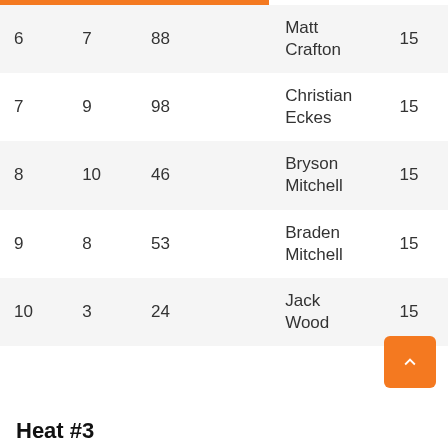|  |  |  |  | Driver |  |
| --- | --- | --- | --- | --- | --- |
| 6 | 7 | 88 |  | Matt Crafton | 15 |
| 7 | 9 | 98 |  | Christian Eckes | 15 |
| 8 | 10 | 46 |  | Bryson Mitchell | 15 |
| 9 | 8 | 53 |  | Braden Mitchell | 15 |
| 10 | 3 | 24 |  | Jack Wood | 15 |
Heat #3